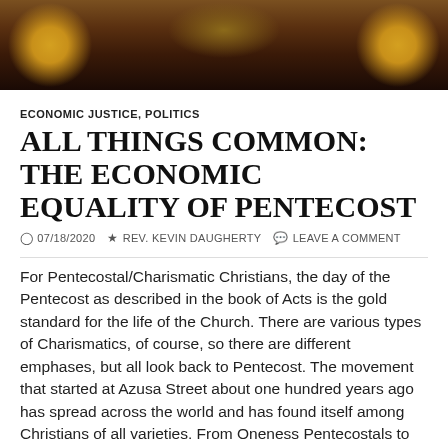[Figure (photo): Header image showing a religious icon or painting with figures, warm golden and dark tones, Byzantine style artwork]
ECONOMIC JUSTICE, POLITICS
ALL THINGS COMMON: THE ECONOMIC EQUALITY OF PENTECOST
07/18/2020  REV. KEVIN DAUGHERTY  LEAVE A COMMENT
For Pentecostal/Charismatic Christians, the day of the Pentecost as described in the book of Acts is the gold standard for the life of the Church. There are various types of Charismatics, of course, so there are different emphases, but all look back to Pentecost. The movement that started at Azusa Street about one hundred years ago has spread across the world and has found itself among Christians of all varieties. From Oneness Pentecostals to Charismatic